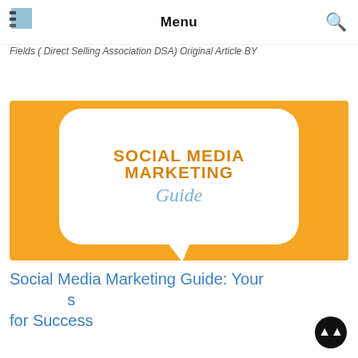Menu
Fields ( Direct Selling Association DSA) Original Article BY
Read More »
[Figure (illustration): Social Media Marketing Guide image: white speech bubble on yellow/orange background with text 'SOCIAL MEDIA MARKETING Guide' in bold gold and blue italic lettering]
Social Media Marketing Guide: Your [button] s for Success